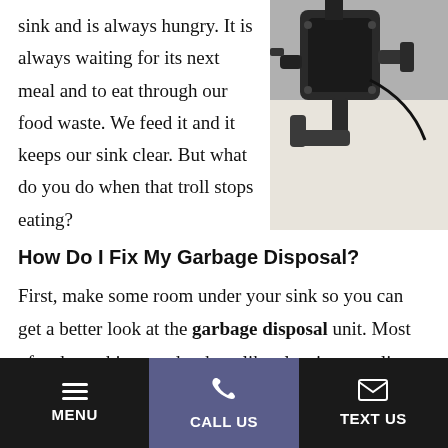sink and is always hungry. It is always waiting for its next meal and to eat through our food waste. We feed it and it keeps our sink clear. But what do you do when that troll stops eating?
[Figure (photo): Underside view of a garbage disposal unit with black plastic pipes and plumbing connections mounted under a sink]
How Do I Fix My Garbage Disposal?
First, make some room under your sink so you can get a better look at the garbage disposal unit. Most of us keep things under there like cleaning supplies, that need to be moved out of the way.
Next, turn on the garbage disposal and listen. What do you
MENU   CALL US   TEXT US